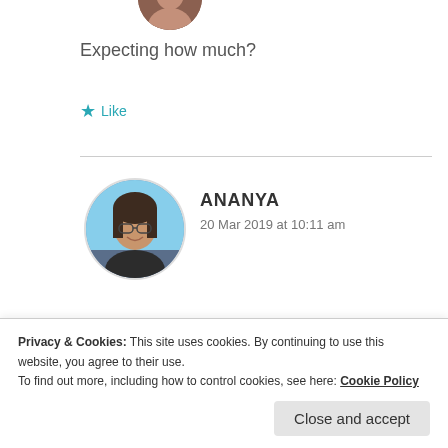[Figure (photo): Partial circular avatar image at top, cropped]
Expecting how much?
★ Like
[Figure (photo): Circular profile photo of a young woman with glasses smiling, outdoors]
ANANYA
20 Mar 2019 at 10:11 am
Maybe 70 plus..haha..I never know..I can't
Privacy & Cookies: This site uses cookies. By continuing to use this website, you agree to their use.
To find out more, including how to control cookies, see here: Cookie Policy
Close and accept